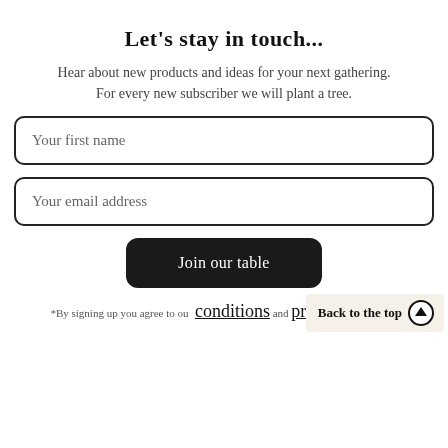Let's stay in touch...
Hear about new products and ideas for your next gathering.
For every new subscriber we will plant a tree.
Your first name
Your email address
Join our table
*By signing up you agree to our conditions and privacy policy.
Back to the top